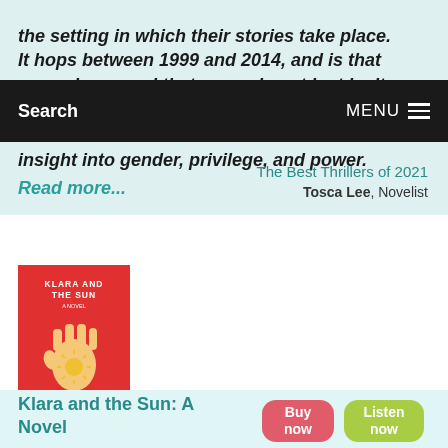the setting in which their stories take place. It hops between 1999 and 2014, and is that rare crime novel that compels not just by its plot, which
Search   MENU
insight into gender, privilege, and power.
Read more...
The Best Thrillers of 2021
Tosca Lee, Novelist
[Figure (photo): Book cover of Klara and the Sun by Kazuo Ishiguro. Red background with an illustrated hand holding a sun design. Knopf publisher.]
Klara and the Sun: A Novel
Buy now
Listen now